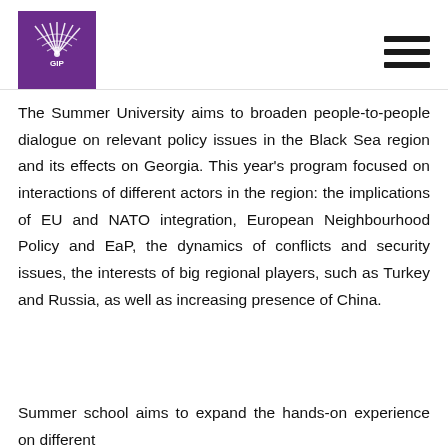GIP logo and navigation menu
The Summer University aims to broaden people-to-people dialogue on relevant policy issues in the Black Sea region and its effects on Georgia. This year's program focused on interactions of different actors in the region: the implications of EU and NATO integration, European Neighbourhood Policy and EaP, the dynamics of conflicts and security issues, the interests of big regional players, such as Turkey and Russia, as well as increasing presence of China.
Summer school aims to expand the hands-on experience on different